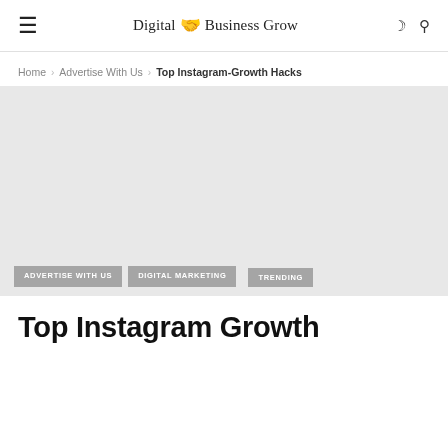≡   Digital 🤝 Business Grow   ☾ 🔍
Home › Advertise With Us › Top Instagram-Growth Hacks
[Figure (photo): Large hero image area (blank/gray) for article about Top Instagram Growth Hacks, with overlay tags: ADVERTISE WITH US, DIGITAL MARKETING, TRENDING]
Top Instagram Growth